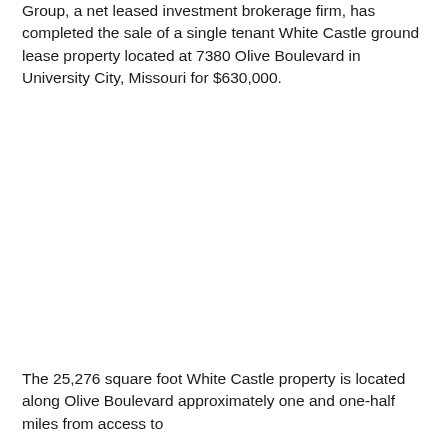Group, a net leased investment brokerage firm, has completed the sale of a single tenant White Castle ground lease property located at 7380 Olive Boulevard in University City, Missouri for $630,000.
The 25,276 square foot White Castle property is located along Olive Boulevard approximately one and one-half miles from access to